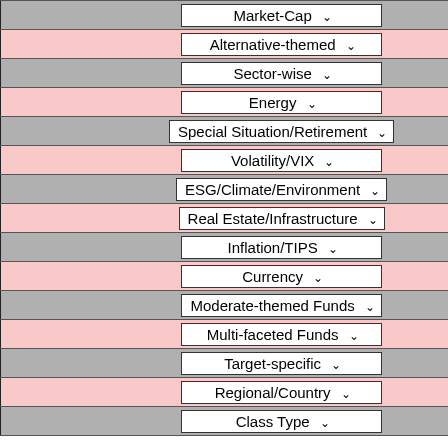| Market-Cap |
| Alternative-themed |
| Sector-wise |
| Energy |
| Special Situation/Retirement |
| Volatility/VIX |
| ESG/Climate/Environment |
| Real Estate/Infrastructure |
| Inflation/TIPS |
| Currency |
| Moderate-themed Funds |
| Multi-faceted Funds |
| Target-specific |
| Regional/Country |
| Class Type |